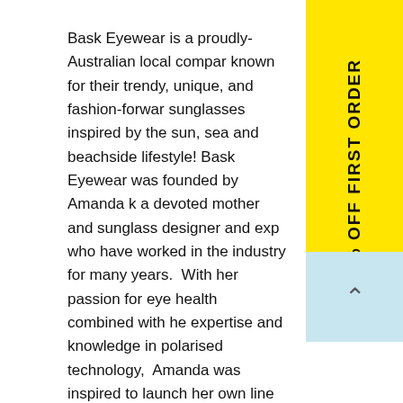Bask Eyewear is a proudly-Australian local company known for their trendy, unique, and fashion-forward sunglasses inspired by the sun, sea and beachside lifestyle! Bask Eyewear was founded by Amanda k, a devoted mother and sunglass designer and experts who have worked in the industry for many years. With her passion for eye health combined with her expertise and knowledge in polarised technology, Amanda was inspired to launch her own line of sunglasses inspired by the coastal lifestyle and designed in the sunny Gold Coast. Each frame carefully handcrafted by master artisans and through rigorous testing and trials ensuring the promise of quality frames.
[Figure (other): Yellow vertical sidebar banner with rotated text reading '5% OFF FIRST ORDER']